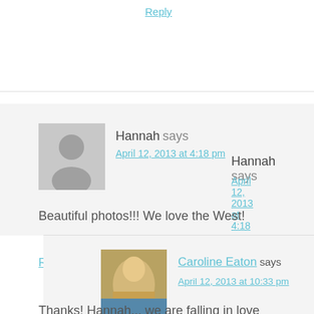Reply
Hannah says
April 12, 2013 at 4:18 pm
Beautiful photos!!! We love the West!
Reply
Caroline Eaton says
April 12, 2013 at 10:33 pm
Thanks! Hannah... we are falling in love